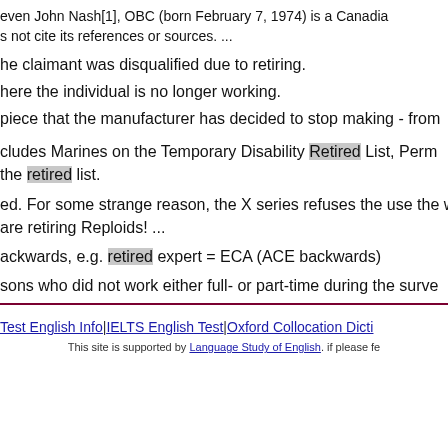even John Nash[1], OBC (born February 7, 1974) is a Canadia
s not cite its references or sources. ...
he claimant was disqualified due to retiring.
here the individual is no longer working.
piece that the manufacturer has decided to stop making - from
cludes Marines on the Temporary Disability Retired List, Perm
the retired list.
ed. For some strange reason, the X series refuses the use the w
are retiring Reploids! ...
ackwards, e.g. retired expert = ECA (ACE backwards)
sons who did not work either full- or part-time during the surve
Test English Info|IELTS English Test|Oxford Collocation Dicti
This site is supported by Language Study of English. if please fe